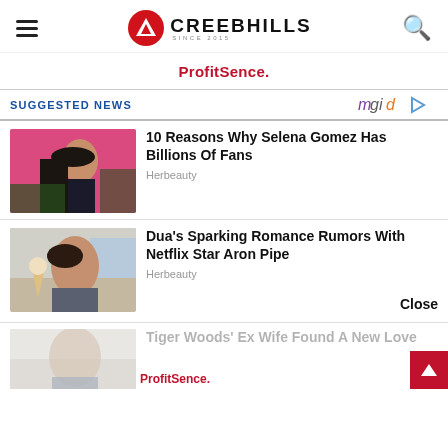CREEBHILLS SINCE 2015
ProfitSence.
SUGGESTED NEWS
[Figure (photo): Photo of Selena Gomez on pink background]
10 Reasons Why Selena Gomez Has Billions Of Fans
Herbeauty
[Figure (photo): Photo of woman holding ice cream cone]
Dua's Sparking Romance Rumors With Netflix Star Aron Pipe
Herbeauty
[Figure (photo): Partial photo – Tiger Woods story]
Tiger Woods' Ex Wife Found A New Love
ProfitSence.